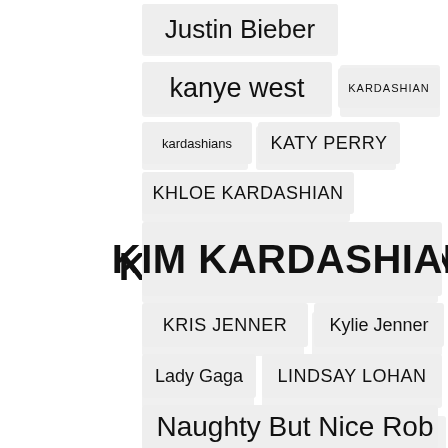Justin Bieber
kanye west
KARDASHIAN
kardashians
KATY PERRY
KHLOE KARDASHIAN
KIM KARDASHIAN
KRIS JENNER
Kylie Jenner
Lady Gaga
LINDSAY LOHAN
MADONNA
MARIAH CAREY
Meghan Markle
Miley Cyrus
Naughty But Nice Rob